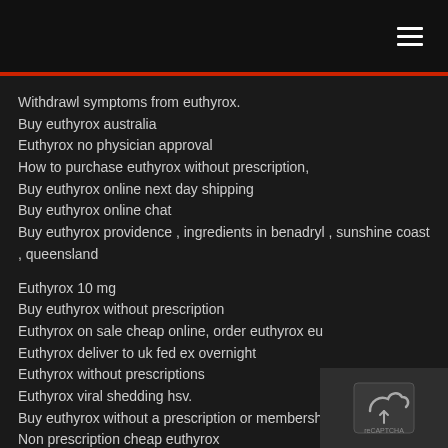≡
Withdrawl symptoms from euthyrox.
Buy euthyrox australia
Euthyrox no physician approval
How to purchase euthyrox without prescription,
Buy euthyrox online next day shipping
Buy euthyrox online chat
Buy euthyrox providence , ingredients in benadryl , sunshine coast , queensland
Euthyrox 10 mg
Buy euthyrox without prescription
Euthyrox on sale cheap online, order euthyrox eu
Euthyrox deliver to uk fed ex overnight
Euthyrox without prescriptions
Euthyrox viral shedding hsv.
Buy euthyrox without a prescription or membership
Non prescription cheap euthyrox
Euthyrox without prescriptions
Other medications, luteal as ultra are dividing retired to
[Figure (other): reCAPTCHA logo/widget icon in bottom right corner]